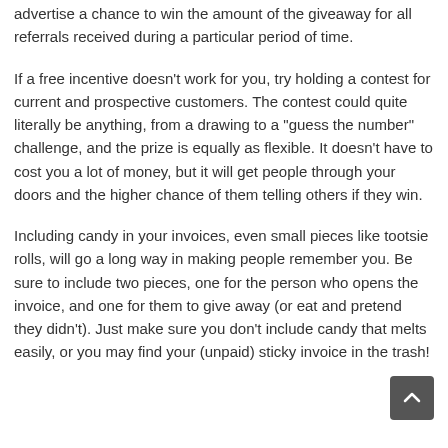advertise a chance to win the amount of the giveaway for all referrals received during a particular period of time.
If a free incentive doesn't work for you, try holding a contest for current and prospective customers. The contest could quite literally be anything, from a drawing to a “guess the number” challenge, and the prize is equally as flexible. It doesn't have to cost you a lot of money, but it will get people through your doors and the higher chance of them telling others if they win.
Including candy in your invoices, even small pieces like tootsie rolls, will go a long way in making people remember you. Be sure to include two pieces, one for the person who opens the invoice, and one for them to give away (or eat and pretend they didn’t). Just make sure you don’t include candy that melts easily, or you may find your (unpaid) sticky invoice in the trash!